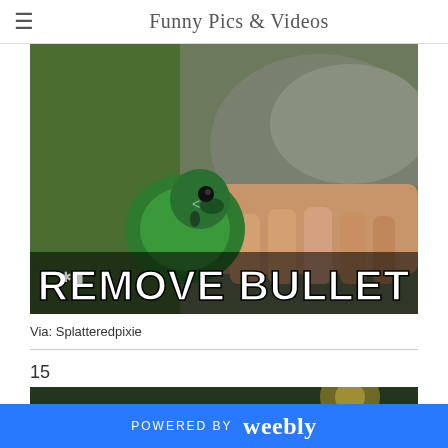Funny Pics & Videos
[Figure (photo): A meme image showing a green animated bird/parrot being held, with large white bold text reading 'REMOVE BULLET' overlaid on the image]
Via: Splatteredpixie
15
[Figure (photo): Partial view of another meme image with dark background and partial text visible]
POWERED BY weebly